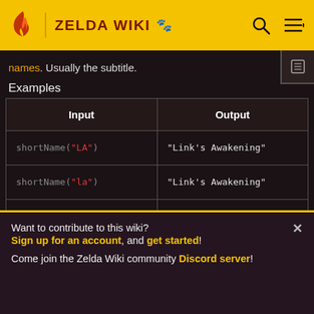ZELDA WIKI
names. Usually the subtitle.
Examples
| Input | Output |
| --- | --- |
| shortName("LA") | "Link's Awakening" |
| shortName("la") | "Link's Awakening" |
| shortName("LANS") | "Link's Awakening (Nin |
Want to contribute to this wiki?
Sign up for an account, and get started!

Come join the Zelda Wiki community Discord server!